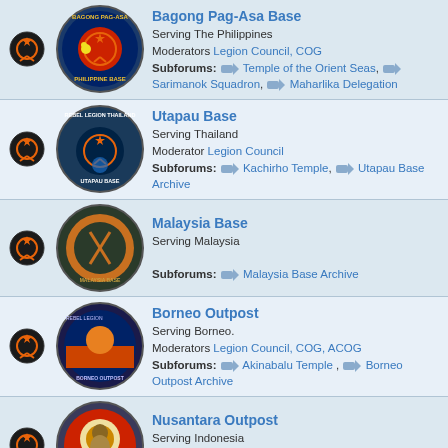Bagong Pag-Asa Base – Serving The Philippines. Moderators Legion Council, COG. Subforums: Temple of the Orient Seas, Sarimanok Squadron, Maharlika Delegation
Utapau Base – Serving Thailand. Moderator Legion Council. Subforums: Kachirho Temple, Utapau Base Archive
Malaysia Base – Serving Malaysia. Subforums: Malaysia Base Archive
Borneo Outpost – Serving Borneo. Moderators Legion Council, COG, ACOG. Subforums: Akinabalu Temple, Borneo Outpost Archive
Nusantara Outpost – Serving Indonesia. Moderators Legion Council, COG, ACOG. Subforums: Nusantara Outpost Archive
Ileenium Outpost – Ileenium Outpost Serving Korea. Moderators Legion Council, ACOG
Australia